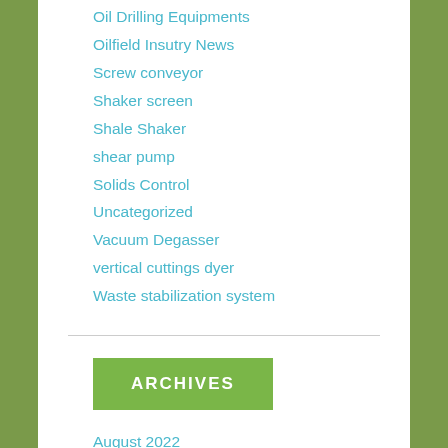Oil Drilling Equipments
Oilfield Insutry News
Screw conveyor
Shaker screen
Shale Shaker
shear pump
Solids Control
Uncategorized
Vacuum Degasser
vertical cuttings dyer
Waste stabilization system
ARCHIVES
August 2022
July 2022
June 2022